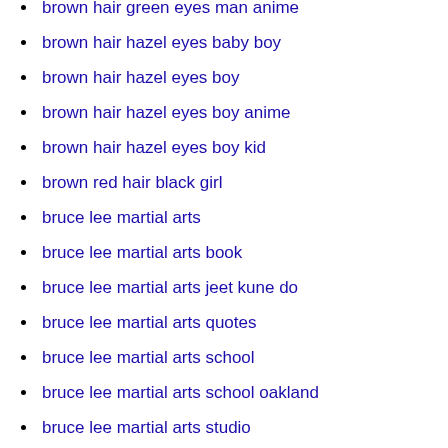brown hair green eyes man anime
brown hair hazel eyes baby boy
brown hair hazel eyes boy
brown hair hazel eyes boy anime
brown hair hazel eyes boy kid
brown red hair black girl
bruce lee martial arts
bruce lee martial arts book
bruce lee martial arts jeet kune do
bruce lee martial arts quotes
bruce lee martial arts school
bruce lee martial arts school oakland
bruce lee martial arts studio
bruce lee martial arts style
bruce lee martial arts training